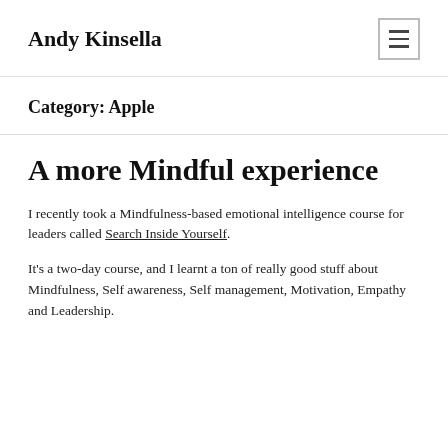Andy Kinsella
Category: Apple
A more Mindful experience
I recently took a Mindfulness-based emotional intelligence course for leaders called Search Inside Yourself.
It's a two-day course, and I learnt a ton of really good stuff about Mindfulness, Self awareness, Self management, Motivation, Empathy and Leadership.